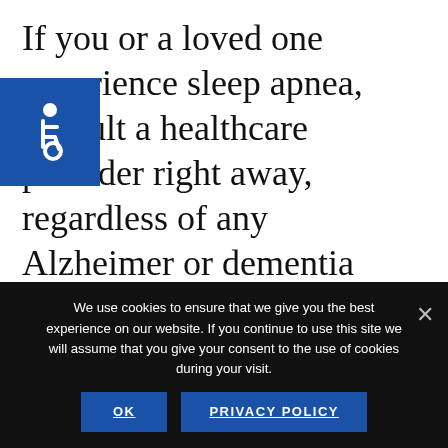If you or a loved one experience sleep apnea, consult a healthcare provider right away, regardless of any Alzheimer or dementia concerns.
[Figure (illustration): Accessibility icon — white wheelchair symbol on blue square background]
The lack of sleep can cause more immediate physical and mental health conditions, and he or she can
We use cookies to ensure that we give you the best experience on our website. If you continue to use this site we will assume that you give your consent to the use of cookies during your visit.